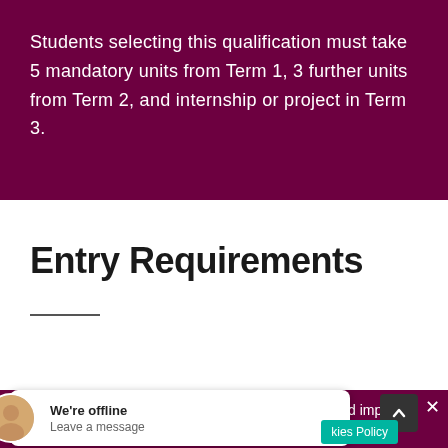Students selecting this qualification must take 5 mandatory units from Term 1, 3 further units from Term 2, and internship or project in Term 3.
Entry Requirements
We use cookies to enhance the user experience and improve the quality of our website. For further information please see our Cookies Policy.